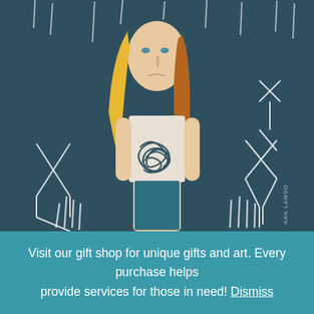[Figure (illustration): Illustration by Nan Lawson showing a flat-style figure of a girl with long blonde and auburn hair, standing against a dark teal background. She has a sad expression and a dark tangled scribble mass on her chest/torso. Surrounding her are white hand-drawn scribble shapes. She wears a white top and dark teal trousers. Artist signature 'NAN LAWSO' visible bottom right.]
Visit our gift shop for unique gifts and art. Every purchase helps provide services for those in need! Dismiss